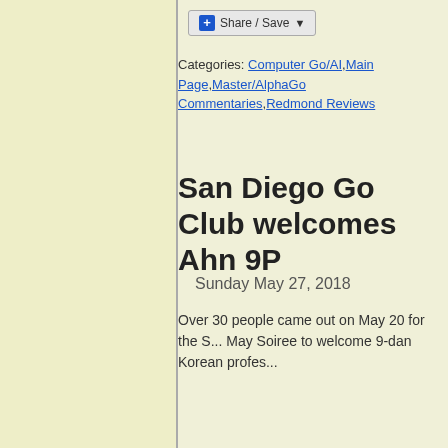[Figure (other): Share/Save button widget with blue plus icon]
Categories: Computer Go/AI, Main Page, Master/AlphaGo Commentaries, Redmond Reviews
San Diego Go Club welcomes Ahn 9P
Sunday May 27, 2018
Over 30 people came out on May 20 for the S... May Soiree to welcome 9-dan Korean profes...